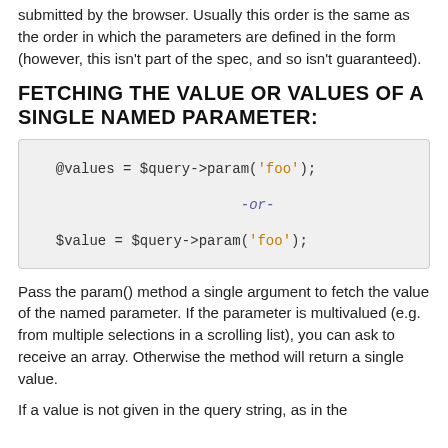submitted by the browser. Usually this order is the same as the order in which the parameters are defined in the form (however, this isn't part of the spec, and so isn't guaranteed).
FETCHING THE VALUE OR VALUES OF A SINGLE NAMED PARAMETER:
Pass the param() method a single argument to fetch the value of the named parameter. If the parameter is multivalued (e.g. from multiple selections in a scrolling list), you can ask to receive an array. Otherwise the method will return a single value.
If a value is not given in the query string, as in the